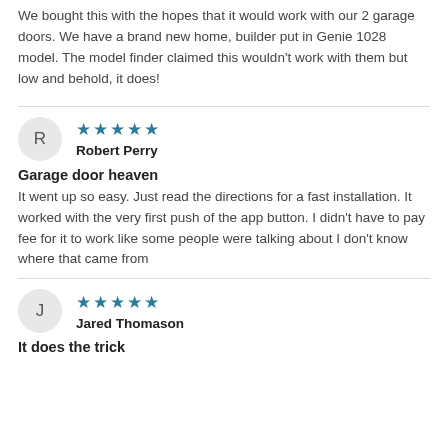We bought this with the hopes that it would work with our 2 garage doors. We have a brand new home, builder put in Genie 1028 model. The model finder claimed this wouldn't work with them but low and behold, it does!
R — Robert Perry — 5 stars
Garage door heaven
It went up so easy. Just read the directions for a fast installation. It worked with the very first push of the app button. I didn't have to pay fee for it to work like some people were talking about I don't know where that came from
J — Jared Thomason — 5 stars
It does the trick